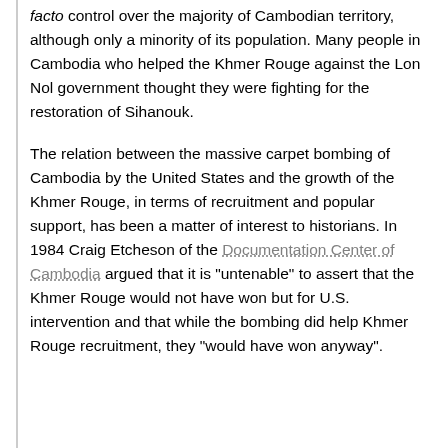facto control over the majority of Cambodian territory, although only a minority of its population. Many people in Cambodia who helped the Khmer Rouge against the Lon Nol government thought they were fighting for the restoration of Sihanouk.
The relation between the massive carpet bombing of Cambodia by the United States and the growth of the Khmer Rouge, in terms of recruitment and popular support, has been a matter of interest to historians. In 1984 Craig Etcheson of the Documentation Center of Cambodia argued that it is "untenable" to assert that the Khmer Rouge would not have won but for U.S. intervention and that while the bombing did help Khmer Rouge recruitment, they "would have won anyway".